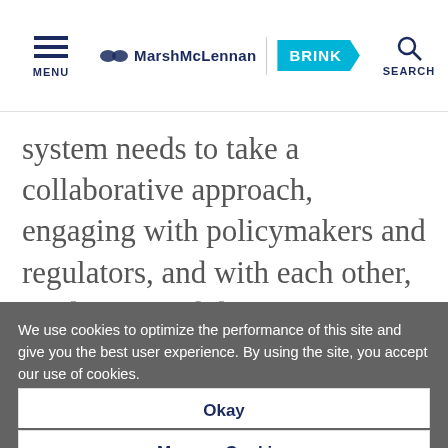MENU | MarshMcLennan BRINK | SEARCH
system needs to take a collaborative approach, engaging with policymakers and regulators, and with each other, to identify and deliver system-wide improvements. The banking system
We use cookies to optimize the performance of this site and give you the best user experience. By using the site, you accept our use of cookies.
Okay
Manage Cookies